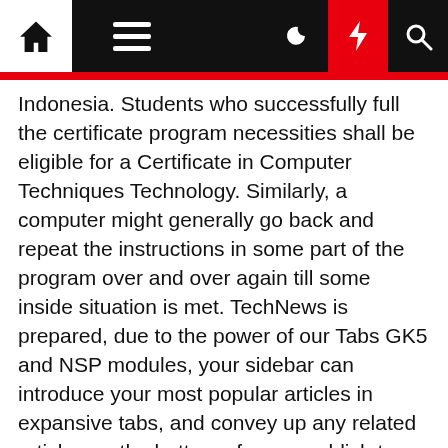Navigation bar with home, menu, moon, flash, search icons
Indonesia. Students who successfully full the certificate program necessities shall be eligible for a Certificate in Computer Techniques Technology. Similarly, a computer might generally go back and repeat the instructions in some part of the program over and over again till some inside situation is met. TechNews is prepared, due to the power of our Tabs GK5 and NSP modules, your sidebar can introduce your most popular articles in expansive tabs, and convey up any related articles on the bottom of every publish to keep users moving via your website.
Began by Tina Brown and owned by Barry Diller by IAC, both of whom have spent their long careers in media, Dietrick stated The Daily Beast by no means overinvested in Fb or the platformsâ€ and has usually been capable of keep away from major following in a shouldthe more page originally the d